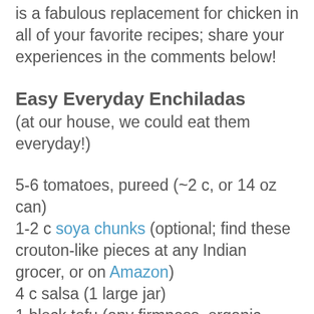is a fabulous replacement for chicken in all of your favorite recipes; share your experiences in the comments below!
Easy Everyday Enchiladas
(at our house, we could eat them everyday!)
5-6 tomatoes, pureed (~2 c, or 14 oz can)
1-2 c soya chunks (optional; find these crouton-like pieces at any Indian grocer, or on Amazon)
4 c salsa (1 large jar)
1 block tofu (any firmness, organic